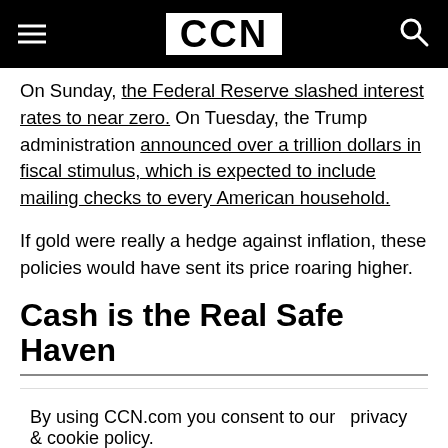CCN
On Sunday, the Federal Reserve slashed interest rates to near zero. On Tuesday, the Trump administration announced over a trillion dollars in fiscal stimulus, which is expected to include mailing checks to every American household.
If gold were really a hedge against inflation, these policies would have sent its price roaring higher.
Cash is the Real Safe Haven
By using CCN.com you consent to our  privacy & cookie policy.
Continue